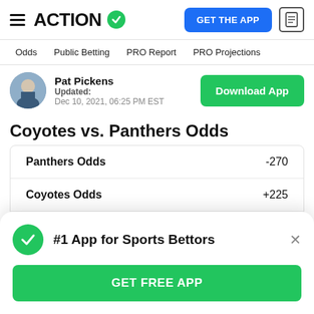ACTION — GET THE APP
Odds  Public Betting  PRO Report  PRO Projections
Pat Pickens
Updated:
Dec 10, 2021, 06:25 PM EST
Coyotes vs. Panthers Odds
|  |  |
| --- | --- |
| Panthers Odds | -270 |
| Coyotes Odds | +225 |
| Over/Under | 6 |
#1 App for Sports Bettors
GET FREE APP